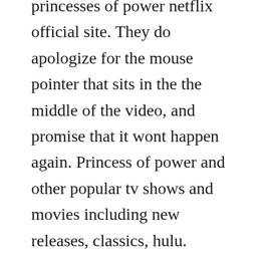princesses of power netflix official site. They do apologize for the mouse pointer that sits in the the middle of the video, and promise that it wont happen again. Princess of power and other popular tv shows and movies including new releases, classics, hulu.
Shera and the princesses of power season 5 watch online all. Full season and episodes free online streaming fast high quality legal movies and tv television shows. Season 2, episode 2 september 20, 1986 when hordak attacks bright moon, she ra must seek out exgeneral sunder, now a farmer who wants